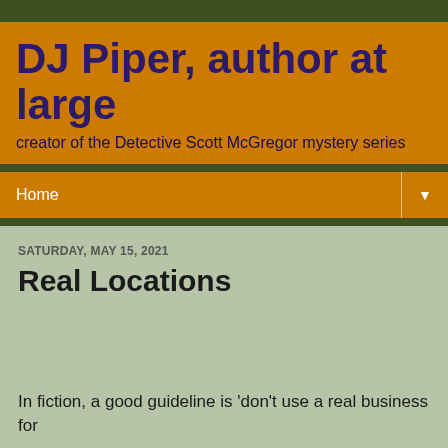DJ Piper, author at large
creator of the Detective Scott McGregor mystery series
Home ▼
SATURDAY, MAY 15, 2021
Real Locations
In fiction, a good guideline is 'don't use a real business for